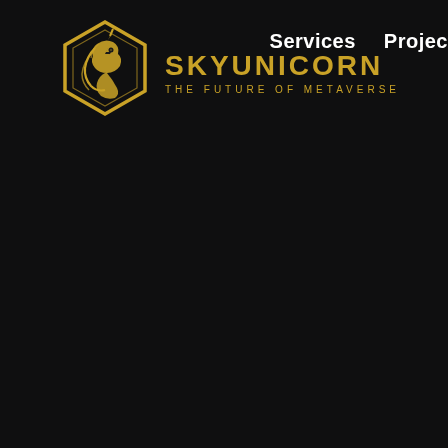[Figure (logo): SkyUnicorn logo: a golden shield-shaped emblem with a unicorn head silhouette, alongside the text 'SKYUNICORN' in bold gold letters and tagline 'THE FUTURE OF METAVERSE' in smaller gold letters]
Services   Projec...